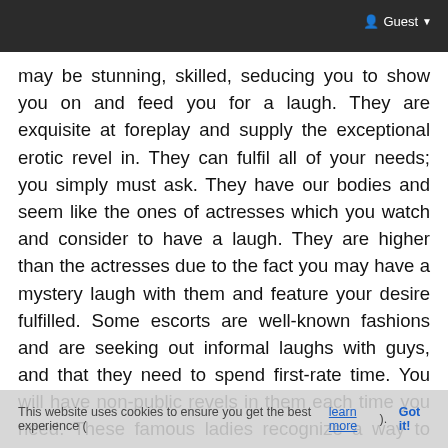Guest
may be stunning, skilled, seducing you to show you on and feed you for a laugh. They are exquisite at foreplay and supply the exceptional erotic revel in. They can fulfil all of your needs; you simply must ask. They have our bodies and seem like the ones of actresses which you watch and consider to have a laugh. They are higher than the actresses due to the fact you may have a mystery laugh with them and feature your desire fulfilled. Some escorts are well-known fashions and are seeking out informal laughs with guys, and that they need to spend first-rate time. You will have non-public revels in them each time you need. These famous ladies recognize a way to make like guys and a way to fulfil. These famous escort carriers are the freshest and feature stunning bodies.